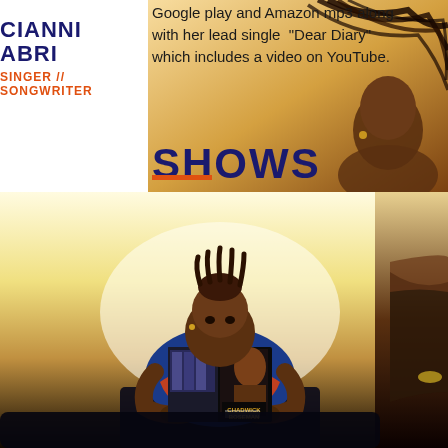CIANNI ABRI
SINGER // SONGWRITER
Google play and Amazon mp3 along with her lead single "Dear Diary" which includes a video on YouTube.
SHOWS
[Figure (photo): Woman with long braids flipping hair against warm orange/golden background]
[Figure (photo): Person sitting and reading a Chadwick Boseman book/magazine, with another person partially visible on the right edge]